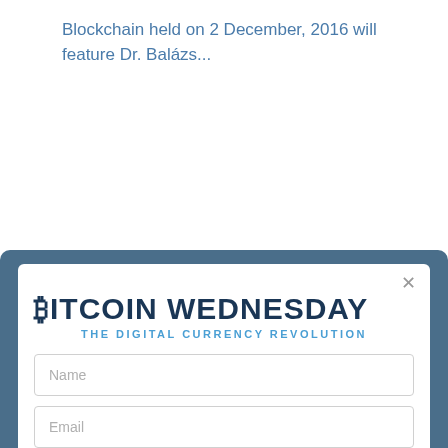Blockchain held on 2 December, 2016 will feature Dr. Balázs...
[Figure (screenshot): A modal popup for Bitcoin Wednesday newsletter signup. Contains the Bitcoin Wednesday logo with tagline 'THE DIGITAL CURRENCY REVOLUTION' and two form fields: Name and Email, with a close (×) button in the top right corner. The modal is displayed over a steel blue overlay background.]